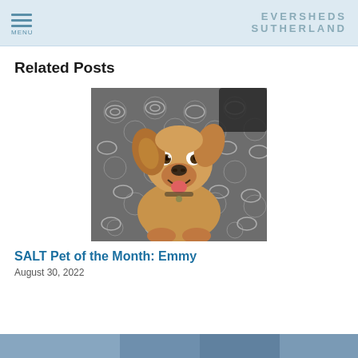MENU | EVERSHEDS SUTHERLAND
Related Posts
[Figure (photo): A golden/tan colored dog sitting on a grey patterned rug, looking up at the camera with mouth open and tongue slightly out.]
SALT Pet of the Month: Emmy
August 30, 2022
[Figure (photo): Partial image of another pet at the bottom of the page, cut off.]